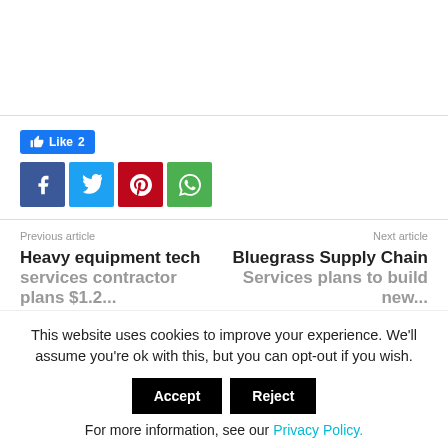[Figure (infographic): Facebook Like button showing count of 2]
[Figure (infographic): Social share icons: Facebook (purple-blue), Twitter (light blue), Pinterest (red), WhatsApp (green)]
Previous article
Next article
Heavy equipment tech services contractor plans $1.2...
Bluegrass Supply Chain Services plans to build new...
This website uses cookies to improve your experience. We'll assume you're ok with this, but you can opt-out if you wish.
For more information, see our Privacy Policy.